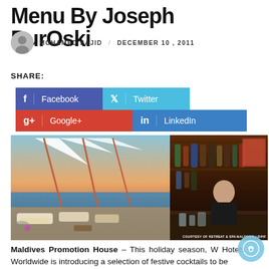Menu By Joseph BurOski
MOHAMED SAJID / DECEMBER 10, 2011
SHARE: Facebook Twitter Google+ LinkedIn
[Figure (photo): Left: outdoor beach lounge area with white canopy sails over cushioned seating at sunset over ocean. Right: bartender man standing behind bar with bottles of liquor on shelves.]
COURTESY OF RETREAT & SPA MALDIVES / RIHF
Maldives Promotion House – This holiday season, W Hotels Worldwide is introducing a selection of festive cocktails to be